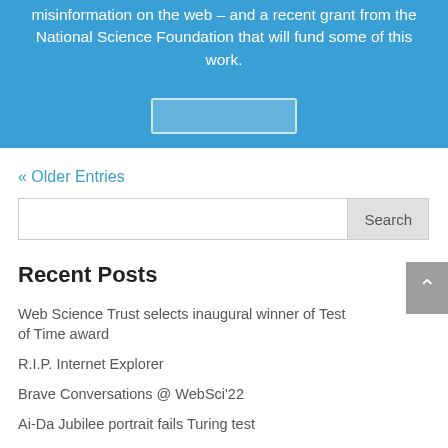misinformation on the web – and a recent grant from the National Science Foundation that will fund some of this work.
« Older Entries
Search
Recent Posts
Web Science Trust selects inaugural winner of Test of Time award
R.I.P. Internet Explorer
Brave Conversations @ WebSci'22
Ai-Da Jubilee portrait fails Turing test